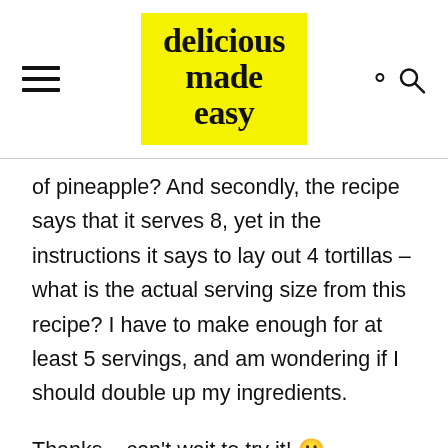delicious made easy
of pineapple? And secondly, the recipe says that it serves 8, yet in the instructions it says to lay out 4 tortillas – what is the actual serving size from this recipe? I have to make enough for at least 5 servings, and am wondering if I should double up my ingredients.
Thanks – can't wait to try it! 🙂